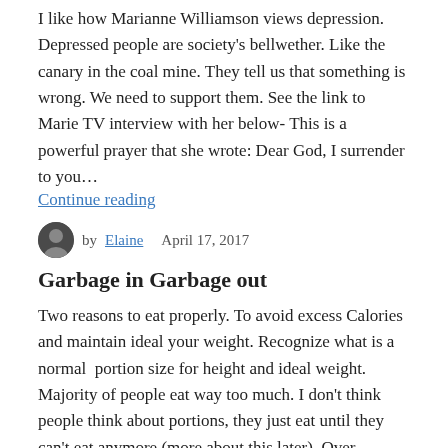I like how Marianne Williamson views depression. Depressed people are society's bellwether. Like the canary in the coal mine. They tell us that something is wrong. We need to support them. See the link to Marie TV interview with her below- This is a powerful prayer that she wrote: Dear God, I surrender to you… Continue reading
by Elaine   April 17, 2017
Garbage in Garbage out
Two reasons to eat properly. To avoid excess Calories and maintain ideal your weight. Recognize what is a normal  portion size for height and ideal weight. Majority of people eat way too much. I don't think people think about portions, they just eat until they can't eat anymore (more about this later). Over weight/ obesity results… Continue reading
by Elaine   April 16, 2017